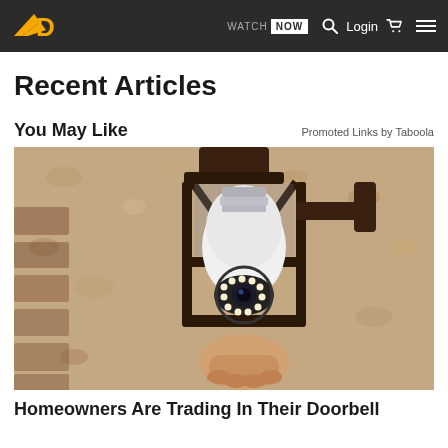WATCH NOW  Login
Recent Articles
You May Like
Promoted Links by Taboola
[Figure (photo): A smart security camera shaped like a light bulb installed in an outdoor lantern fixture mounted on a textured stucco wall.]
Homeowners Are Trading In Their Doorbell